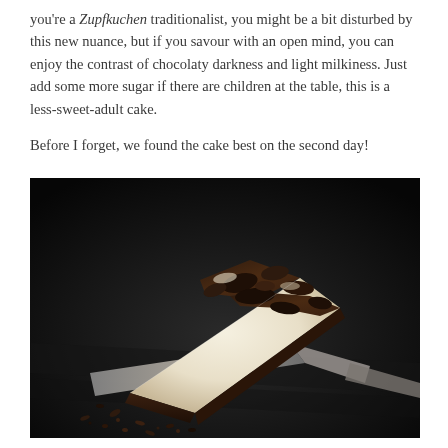you're a Zupfkuchen traditionalist, you might be a bit disturbed by this new nuance, but if you savour with an open mind, you can enjoy the contrast of chocolaty darkness and light milkiness. Just add some more sugar if there are children at the table, this is a less-sweet-adult cake.

Before I forget, we found the cake best on the second day!
[Figure (photo): A dark dramatic food photo of a triangular slice of Zupfkuchen (German chocolate cheesecake) on a dark slate surface, showing the dark chocolate crumb topping and pale creamy cheesecake interior, with a cake server/spatula underneath the slice. Chocolate crumbs are scattered around the slice.]